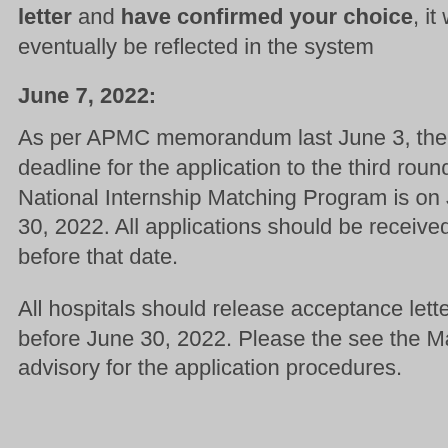letter and have confirmed your choice, it will eventually be reflected in the system
June 7, 2022:
As per APMC memorandum last June 3, the deadline for the application to the third round of the National Internship Matching Program is on June 30, 2022. All applications should be received on or before that date.
All hospitals should release acceptance letters on or before June 30, 2022. Please the see the May 20 advisory for the application procedures.